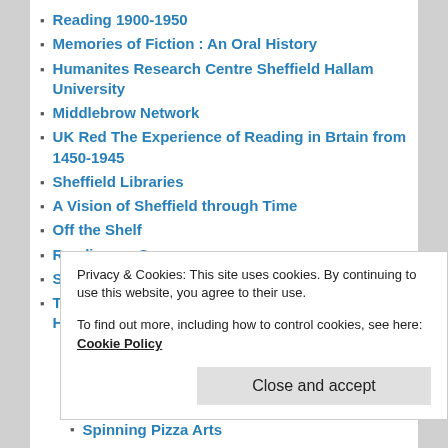Reading 1900-1950
Memories of Fiction : An Oral History
Humanites Research Centre Sheffield Hallam University
Middlebrow Network
UK Red The Experience of Reading in Brtain from 1450-1945
Sheffield Libraries
A Vision of Sheffield through Time
Off the Shelf
Reading on Screen
Spitalfields Life
The 7 Most Impressive Libraries from throughout History
Privacy & Cookies: This site uses cookies. By continuing to use this website, you agree to their use.
To find out more, including how to control cookies, see here: Cookie Policy
Spinning Pizza Arts